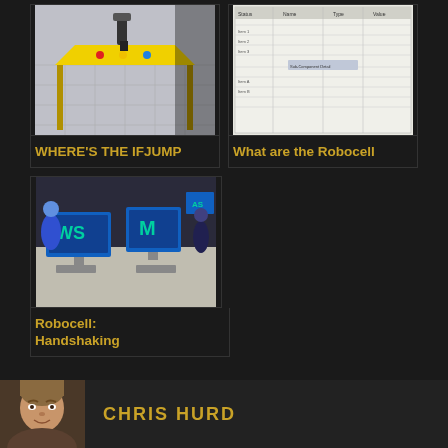[Figure (screenshot): 3D simulation of robot arm on yellow table]
WHERE'S THE IFJUMP
[Figure (screenshot): Table/spreadsheet with Robocell data]
What are the Robocell
[Figure (screenshot): 3D simulation of workstations with monitors labeled WS and M]
Robocell: Handshaking
[Figure (photo): Author photo of Chris Hurd]
CHRIS HURD